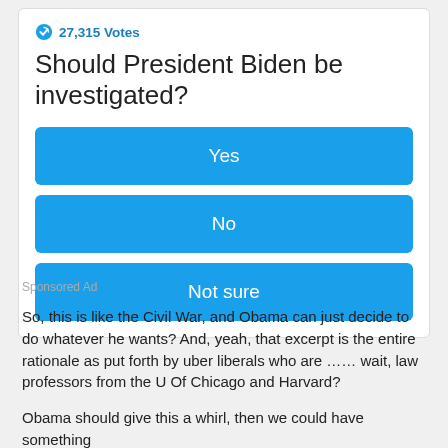27,315 Votes
Should President Biden be investigated?
Yes
No
Not sure
Sponsored Ad
So, this is like the Civil War, and Obama can just decide to do whatever he wants? And, yeah, that excerpt is the entire rationale as put forth by uber liberals who are …… wait, law professors from the U Of Chicago and Harvard?
Obama should give this a whirl, then we could have something